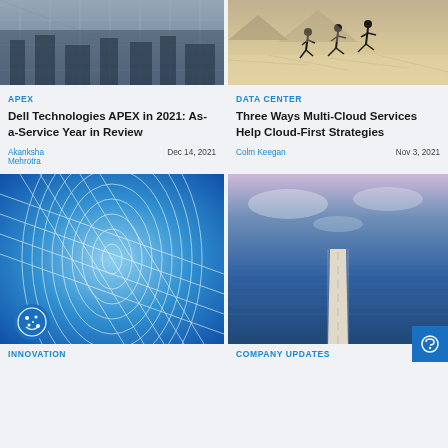[Figure (photo): City view from high-rise building with glass panels]
[Figure (photo): Three people jumping on a salt flat desert landscape]
APEX
DATA CENTER
Dell Technologies APEX in 2021: As-a-Service Year in Review
Three Ways Multi-Cloud Services Help Cloud-First Strategies
Akanksha Mehrotra
Dec 14, 2021
Colm Keegan
Nov 3, 2021
[Figure (photo): Abstract blue geometric spiral pattern]
[Figure (photo): Long road bridge over blue ocean water]
INNOVATION
COMPANY UPDATES